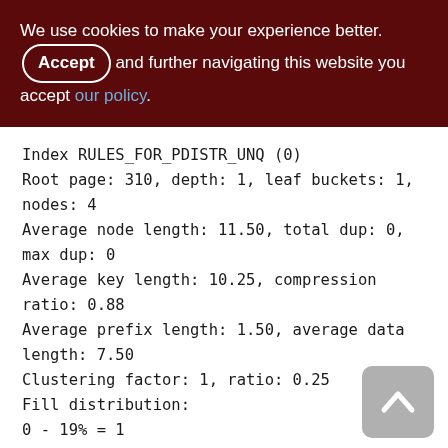We use cookies to make your experience better. By accepting and further navigating this website you accept our policy.
Index RULES_FOR_PDISTR_UNQ (0)
Root page: 310, depth: 1, leaf buckets: 1, nodes: 4
Average node length: 11.50, total dup: 0, max dup: 0
Average key length: 10.25, compression ratio: 0.88
Average prefix length: 1.50, average data length: 7.50
Clustering factor: 1, ratio: 0.25
Fill distribution:
0 - 19% = 1